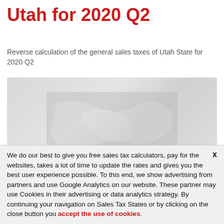Utah for 2020 Q2
Reverse calculation of the general sales taxes of Utah State for 2020 Q2
[Figure (map): Faded map of Utah State used as background illustration]
We do our best to give you free sales tax calculators, pay for the websites, takes a lot of time to update the rates and gives you the best user experience possible. To this end, we show advertising from partners and use Google Analytics on our website. These partner may use Cookies in their advertising or data analytics strategy. By continuing your navigation on Sales Tax States or by clicking on the close button you accept the use of cookies.